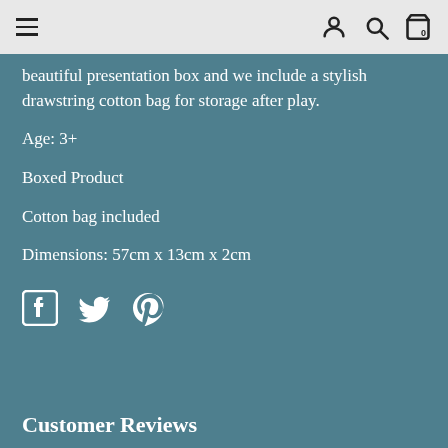Navigation bar with hamburger menu, user icon, search icon, cart icon (0)
beautiful presentation box and we include a stylish drawstring cotton bag for storage after play.
Age: 3+
Boxed Product
Cotton bag included
Dimensions: 57cm x 13cm x 2cm
[Figure (other): Social sharing icons: Facebook, Twitter, Pinterest]
Customer Reviews